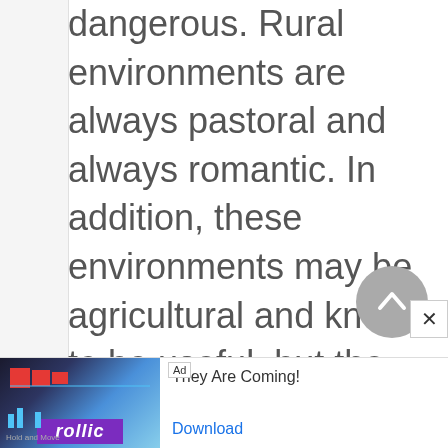dangerous. Rural environments are always pastoral and always romantic. In addition, these environments may be agricultural and known to be useful, but the utilitarian image always defers to the romantic. Finally, there are the wilderness environments, obviously nonpastoral and dangerous, yet still romantic. Seemingly tranquil pastoral rural areas may suddenly revert to wilderness, a phenomenon most easily accomplished by the onset of
[Figure (other): Advertisement banner at bottom of page showing a game ad with follic branding, mountain/landscape imagery, text 'They Are Coming!' and a Download button]